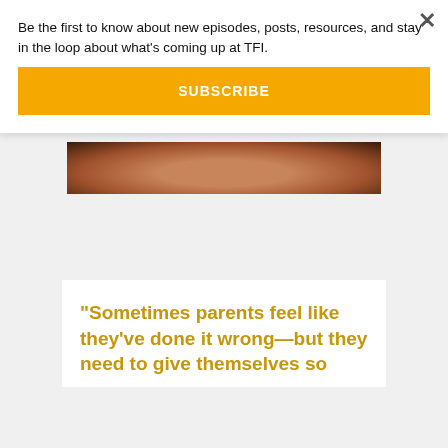Be the first to know about new episodes, posts, resources, and stay in the loop about what's coming up at TFI.
SUBSCRIBE
[Figure (photo): Close-up photo of a person's forehead/scalp skin, dark background]
"Sometimes parents feel like they've done it wrong—but they need to give themselves so much grace. They..."